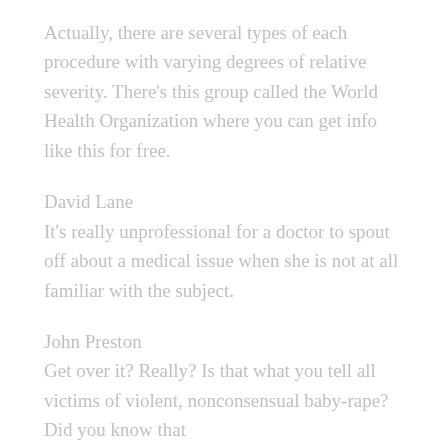Actually, there are several types of each procedure with varying degrees of relative severity. There's this group called the World Health Organization where you can get info like this for free.
David Lane
It's really unprofessional for a doctor to spout off about a medical issue when she is not at all familiar with the subject.
John Preston
Get over it? Really? Is that what you tell all victims of violent, nonconsensual baby-rape? Did you know that